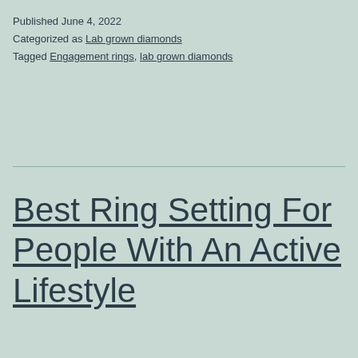Published June 4, 2022
Categorized as Lab grown diamonds
Tagged Engagement rings, lab grown diamonds
Best Ring Setting For People With An Active Lifestyle